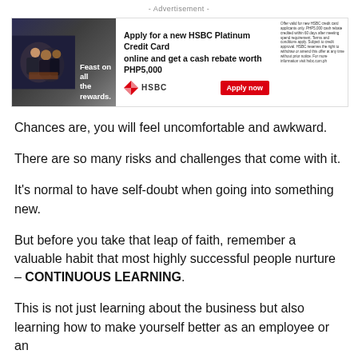[Figure (other): HSBC Platinum Credit Card advertisement banner. Shows people dining on left, text 'Apply for a new HSBC Platinum Credit Card online and get a cash rebate worth PHP5,000', HSBC logo, Apply now button, and fine print on right.]
Chances are, you will feel uncomfortable and awkward.
There are so many risks and challenges that come with it.
It’s normal to have self-doubt when going into something new.
But before you take that leap of faith, remember a valuable habit that most highly successful people nurture – CONTINUOUS LEARNING.
This is not just learning about the business but also learning how to make yourself better as an employee or an